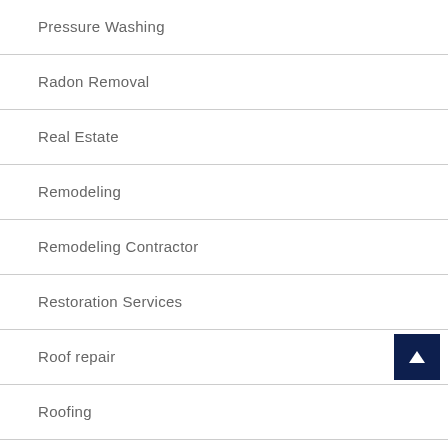Pressure Washing
Radon Removal
Real Estate
Remodeling
Remodeling Contractor
Restoration Services
Roof repair
Roofing